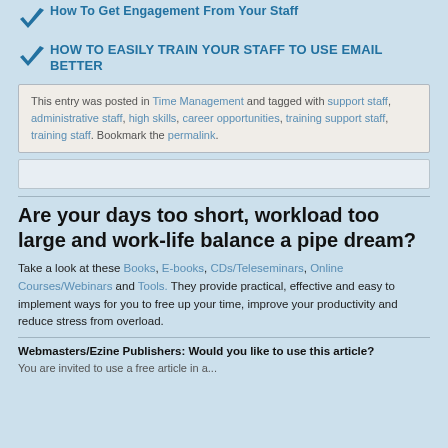How To Get Engagement From Your Staff
HOW TO EASILY TRAIN YOUR STAFF TO USE EMAIL BETTER
This entry was posted in Time Management and tagged with support staff, administrative staff, high skills, career opportunities, training support staff, training staff. Bookmark the permalink.
Are your days too short, workload too large and work-life balance a pipe dream?
Take a look at these Books, E-books, CDs/Teleseminars, Online Courses/Webinars and Tools. They provide practical, effective and easy to implement ways for you to free up your time, improve your productivity and reduce stress from overload.
Webmasters/Ezine Publishers: Would you like to use this article?